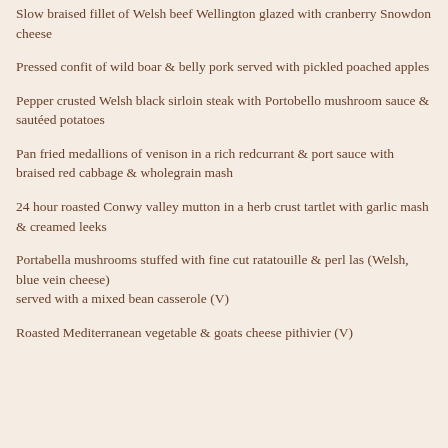Slow braised fillet of Welsh beef Wellington glazed with cranberry Snowdon cheese
Pressed confit of wild boar & belly pork served with pickled poached apples
Pepper crusted Welsh black sirloin steak with Portobello mushroom sauce & sautéed potatoes
Pan fried medallions of venison in a rich redcurrant & port sauce with braised red cabbage & wholegrain mash
24 hour roasted Conwy valley mutton in a herb crust tartlet with garlic mash & creamed leeks
Portabella mushrooms stuffed with fine cut ratatouille & perl las (Welsh, blue vein cheese) served with a mixed bean casserole (V)
Roasted Mediterranean vegetable & goats cheese pithivier (V)